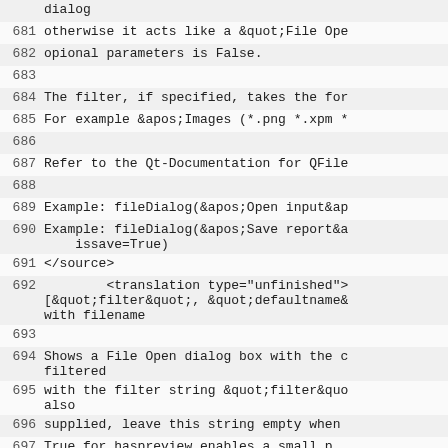dialog
681 otherwise it acts like a &quot;File Ope
682 opional parameters is False.
683
684 The filter, if specified, takes the for
685 For example &apos;Images (*.png *.xpm *
686
687 Refer to the Qt-Documentation for QFile
688
689 Example: fileDialog(&apos;Open input&ap
690 Example: fileDialog(&apos;Save report&a issave=True)
691 </source>
692     <translation type="unfinished"> [&quot;filter&quot;, &quot;defaultname& with filename
693
694 Shows a File Open dialog box with the c filtered
695 with the filter string &quot;filter&quo also
696 supplied, leave this string empty when
697 True for haspreview enables a small p